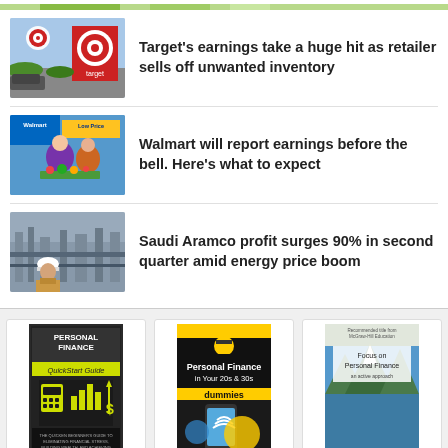[Figure (photo): Partial top image strip, green balloons/event scene]
[Figure (photo): Target store exterior with red Target logo sign]
Target's earnings take a huge hit as retailer sells off unwanted inventory
[Figure (photo): Walmart store with employee and customer, low price signage]
Walmart will report earnings before the bell. Here's what to expect
[Figure (photo): Saudi Aramco worker in hard hat at industrial facility]
Saudi Aramco profit surges 90% in second quarter amid energy price boom
[Figure (photo): Personal Finance QuickStart Guide book cover]
[Figure (photo): Personal Finance in Your 20s & 30s for Dummies book cover]
[Figure (photo): Focus on Personal Finance book cover]